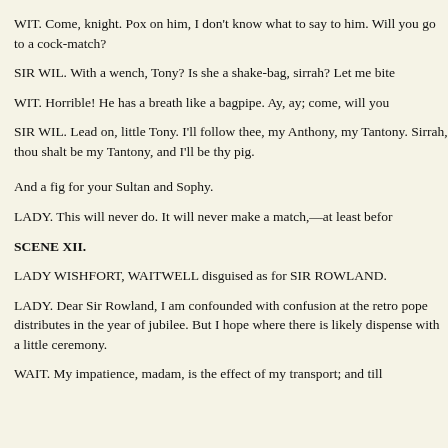WIT. Come, knight. Pox on him, I don't know what to say to him. Will you go to a cock-match?
SIR WIL. With a wench, Tony? Is she a shake-bag, sirrah? Let me bite
WIT. Horrible! He has a breath like a bagpipe. Ay, ay; come, will you
SIR WIL. Lead on, little Tony. I'll follow thee, my Anthony, my Tantony. Sirrah, thou shalt be my Tantony, and I'll be thy pig.
And a fig for your Sultan and Sophy.
LADY. This will never do. It will never make a match,—at least befor
SCENE XII.
LADY WISHFORT, WAITWELL disguised as for SIR ROWLAND.
LADY. Dear Sir Rowland, I am confounded with confusion at the retro pope distributes in the year of jubilee. But I hope where there is likely dispense with a little ceremony.
WAIT. My impatience, madam, is the effect of my transport; and till